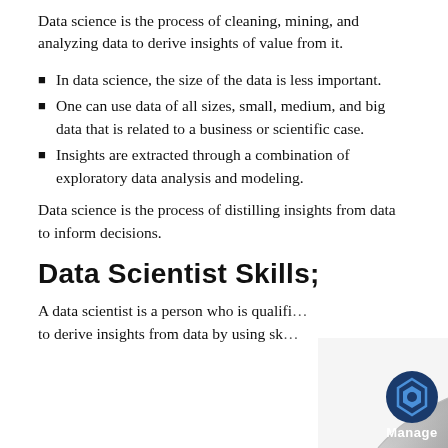Data science is the process of cleaning, mining, and analyzing data to derive insights of value from it.
In data science, the size of the data is less important.
One can use data of all sizes, small, medium, and big data that is related to a business or scientific case.
Insights are extracted through a combination of exploratory data analysis and modeling.
Data science is the process of distilling insights from data to inform decisions.
Data Scientist Skills;
A data scientist is a person who is qualified to derive insights from data by using sk…